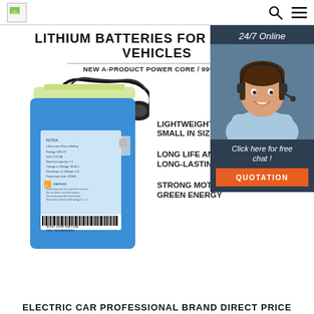Logo | Search | Menu
LITHIUM BATTERIES FOR ELECTRIC VEHICLES
NEW A-PRODUCT POWER CORE / 99% FI...
[Figure (photo): Blue rectangular lithium battery pack with wires and connector on top, product label visible on front side with barcode at bottom]
LIGHTWEIGHT AN SMALL IN SIZE

LONG LIFE AND LONG-LASTING

STRONG MOTIVATION GREEN ENERGY
[Figure (photo): Customer support agent widget: woman with headset smiling, dark background, showing 24/7 Online text, Click here for free chat, and QUOTATION button]
ELECTRIC CAR PROFESSIONAL BRAND DIRECT PRICE